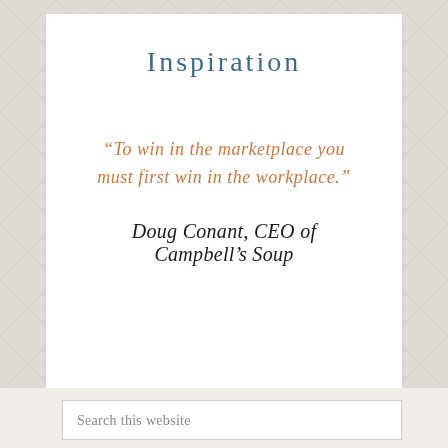Inspiration
“To win in the marketplace you must first win in the workplace.”
Doug Conant, CEO of Campbell’s Soup
Search this website